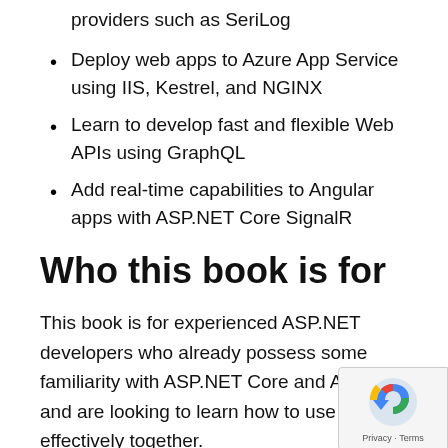providers such as SeriLog
Deploy web apps to Azure App Service using IIS, Kestrel, and NGINX
Learn to develop fast and flexible Web APIs using GraphQL
Add real-time capabilities to Angular apps with ASP.NET Core SignalR
Who this book is for
This book is for experienced ASP.NET developers who already possess some familiarity with ASP.NET Core and Angular and are looking to learn how to use them effectively together.
The fully documented code samples (also available on